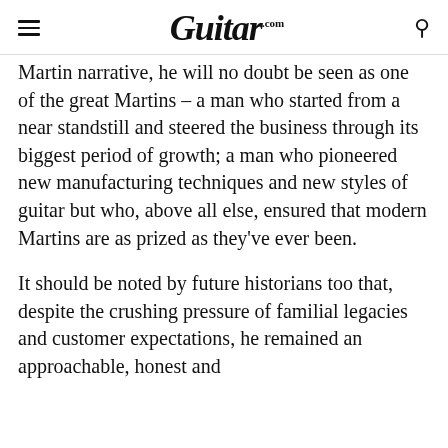Guitar.com
Martin narrative, he will no doubt be seen as one of the great Martins – a man who started from a near standstill and steered the business through its biggest period of growth; a man who pioneered new manufacturing techniques and new styles of guitar but who, above all else, ensured that modern Martins are as prized as they've ever been.
It should be noted by future historians too that, despite the crushing pressure of familial legacies and customer expectations, he remained an approachable, honest and